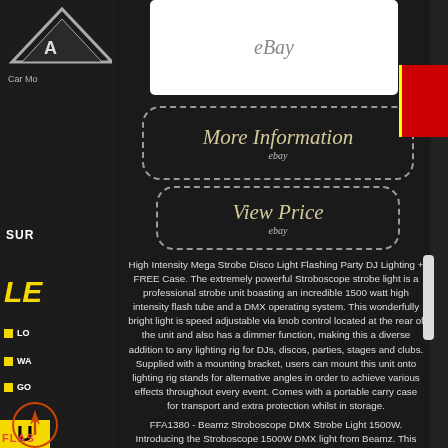[Figure (screenshot): eBay logo/placeholder image at top center in white box]
[Figure (other): More Information button with dotted border linking to ebay]
[Figure (other): View Price button with dotted border linking to ebay]
High Intensity Mega Strobe Disco Light Flashing Party DJ Lighting + FREE Case. The extremely powerful Stroboscope strobe light is a professional strobe unit boasting an incredible 1500 watt high intensity flash tube and a DMX operating system. This wonderfully bright light is speed adjustable via knob control located at the rear of the unit and also has a dimmer function, making this a diverse addition to any lighting rig for DJs, discos, parties, stages and clubs. Supplied with a mounting bracket, users can mount this unit onto lighting rig stands for alternative angles in order to achieve various effects throughout every event. Comes with a portable carry case for transport and extra protection whilst in storage.
FFA1380 - Beamz Stroboscope DMX Strobe Light 1500W. Introducing the Stroboscope 1500W DMX light from Beamz. This extremely powerful strobe is a professional strobe unit boasting an incredible 1500 watt high intensity flash tube and a DMX operating system.